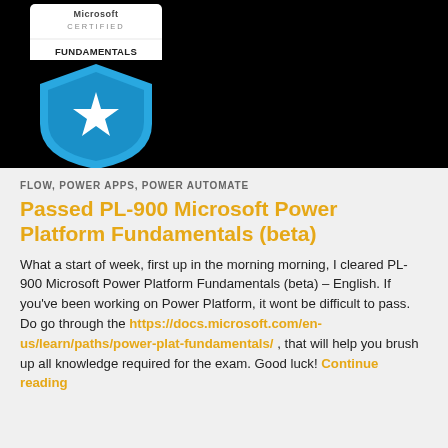[Figure (logo): Microsoft Certified Power Platform Fundamentals badge on a black background. The badge is a shield shape in blue with a white star. Above the shield is a white banner reading 'Microsoft CERTIFIED'. The shield reads 'POWER PLATFORM FUNDAMENTALS'.]
FLOW, POWER APPS, POWER AUTOMATE
Passed PL-900 Microsoft Power Platform Fundamentals (beta)
What a start of week, first up in the morning morning, I cleared PL-900 Microsoft Power Platform Fundamentals (beta) – English. If you've been working on Power Platform, it wont be difficult to pass. Do go through the https://docs.microsoft.com/en-us/learn/paths/power-plat-fundamentals/ , that will help you brush up all knowledge required for the exam. Good luck! Continue reading